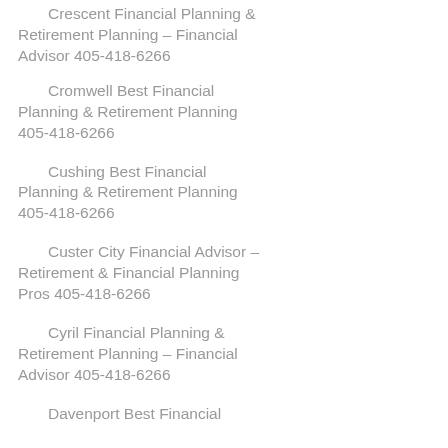Crescent Financial Planning & Retirement Planning – Financial Advisor 405-418-6266
Cromwell Best Financial Planning & Retirement Planning 405-418-6266
Cushing Best Financial Planning & Retirement Planning 405-418-6266
Custer City Financial Advisor – Retirement & Financial Planning Pros 405-418-6266
Cyril Financial Planning & Retirement Planning – Financial Advisor 405-418-6266
Davenport Best Financial